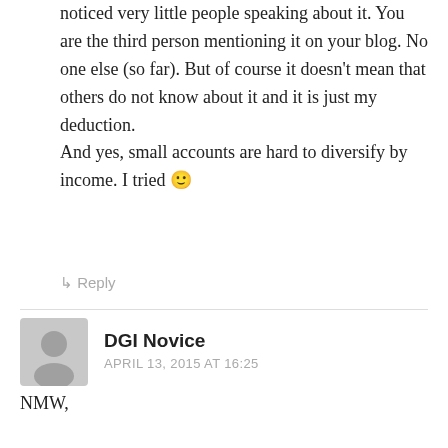noticed very little people speaking about it. You are the third person mentioning it on your blog. No one else (so far). But of course it doesn't mean that others do not know about it and it is just my deduction.
And yes, small accounts are hard to diversify by income. I tried 🙂
↳ Reply
DGI Novice
APRIL 13, 2015 AT 16:25
NMW,
Thanks for the post. It is a nice reminder for me to check up on my portfolio. Like most commenters, I am slowly building toward a 5% rule. I am doing this with a target of